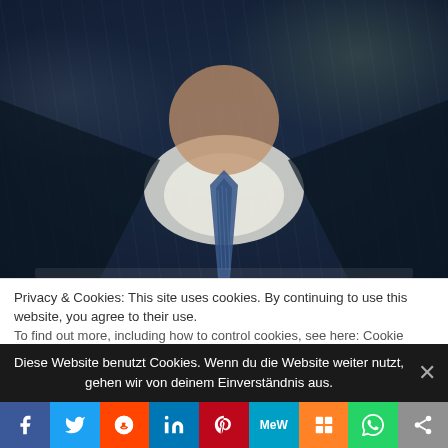[Figure (photo): Close-up photograph of a man in a dark navy pinstripe suit with a blue textured tie and white dress shirt, cropped below the chin showing neck and torso area.]
Privacy & Cookies: This site uses cookies. By continuing to use this website, you agree to their use.
To find out more, including how to control cookies, see here: Cookie...
Diese Website benutzt Cookies. Wenn du die Website weiter nutzt, gehen wir von deinem Einverständnis aus.
[Figure (infographic): Social media sharing bar with icons for Facebook, Twitter, Reddit, LinkedIn, Pinterest, MeWe, Mix, WhatsApp, and Share.]